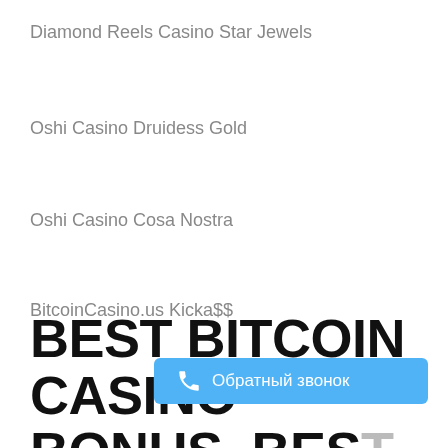Diamond Reels Casino Star Jewels
Oshi Casino Druidess Gold
Oshi Casino Cosa Nostra
BitcoinCasino.us Kicka$$
BEST BITCOIN CASINO BONUS, BES… EARNING GAME